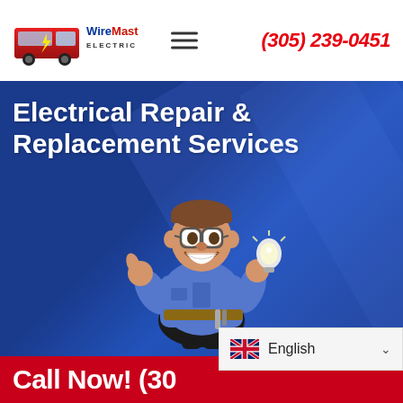[Figure (logo): WireMasters Electric logo with red service van]
(305) 239-0451
Electrical Repair & Replacement Services
[Figure (illustration): Cartoon electrician in blue uniform giving thumbs up and holding a light bulb]
Call Now! (305) 239-0451